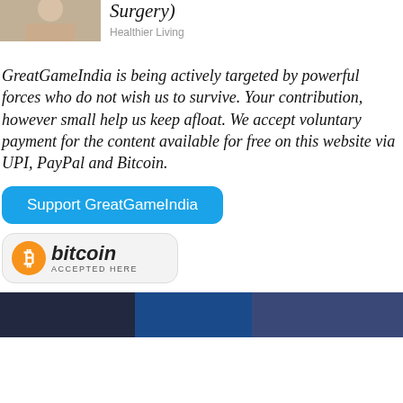[Figure (photo): Thumbnail image of a person, partially visible, cropped top-left]
Surgery)
Healthier Living
GreatGameIndia is being actively targeted by powerful forces who do not wish us to survive. Your contribution, however small help us keep afloat. We accept voluntary payment for the content available for free on this website via UPI, PayPal and Bitcoin.
[Figure (other): Blue rounded-rectangle button labeled 'Support GreatGameIndia']
[Figure (logo): Bitcoin Accepted Here badge with orange Bitcoin logo and italic 'bitcoin' text]
[Figure (photo): Partial photo at bottom of page showing blue and dark tones]